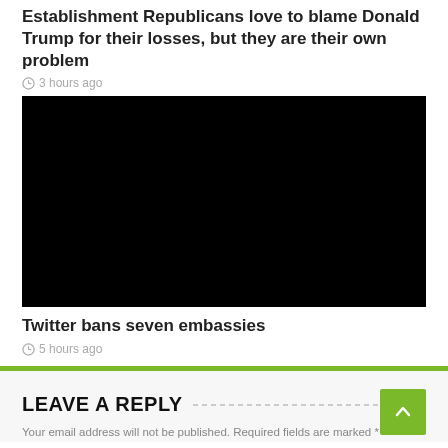Establishment Republicans love to blame Donald Trump for their losses, but they are their own problem
3 hours ago
[Figure (photo): Black image placeholder (video thumbnail or image not loaded)]
Twitter bans seven embassies
5 hours ago
LEAVE A REPLY
Your email address will not be published. Required fields are marked *